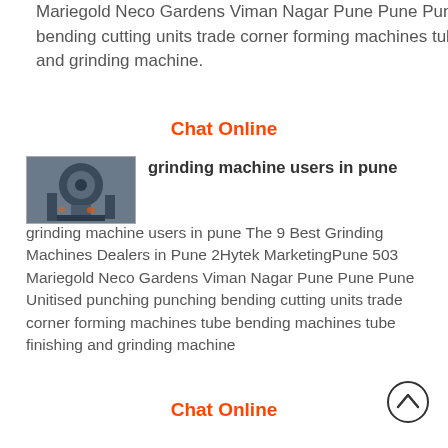Mariegold Neco Gardens Viman Nagar Pune Pune Pune. Unitised punching punching bending cutting units trade corner forming machines tube bending machines tube finishing and grinding machine.
Chat Online
[Figure (photo): Photo of an industrial grinding machine, dark machinery with pipes and components visible]
grinding machine users in pune
grinding machine users in pune The 9 Best Grinding Machines Dealers in Pune 2Hytek MarketingPune 503 Mariegold Neco Gardens Viman Nagar Pune Pune Pune Unitised punching punching bending cutting units trade corner forming machines tube bending machines tube finishing and grinding machine
Chat Online